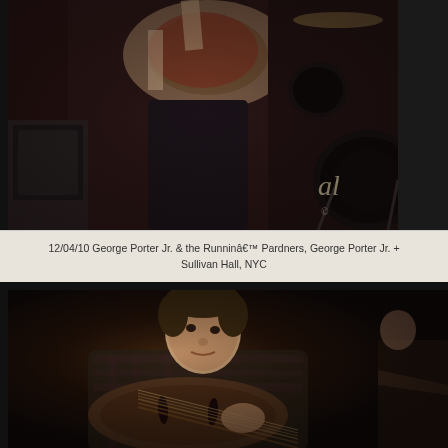[Figure (photo): Concert photo showing a bass guitarist on stage from the torso down, holding a Fender-style bass guitar, with drum kit visible in the background right. Sepia/warm toned photograph taken at Sullivan Hall NYC.]
12/04/10 George Porter Jr. & the Runninâ€™ Pardners, George Porter Jr. + Sullivan Hall, NYC
[Figure (photo): Concert photo of a male guitarist leaning over a semi-hollow body electric guitar, focused on playing. Dark background, warm sepia tones. Taken at Sullivan Hall NYC.]